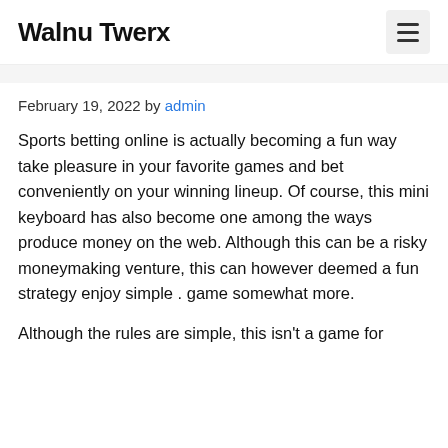Walnu Twerx
February 19, 2022 by admin
Sports betting online is actually becoming a fun way take pleasure in your favorite games and bet conveniently on your winning lineup. Of course, this mini keyboard has also become one among the ways produce money on the web. Although this can be a risky moneymaking venture, this can however deemed a fun strategy enjoy simple . game somewhat more.
Although the rules are simple, this isn't a game for